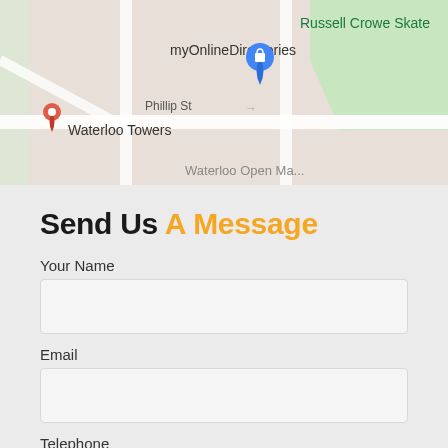[Figure (map): Google Maps screenshot showing streets with Waterloo Towers, myOnlineDirectories, Phillip St, and Russell Crowe Skate labels. Map pins and street grid visible.]
Send Us A Message
Your Name
Email
Telephone